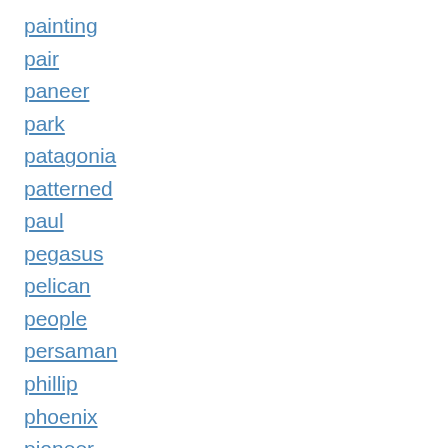painting
pair
paneer
park
patagonia
patterned
paul
pegasus
pelican
people
persaman
phillip
phoenix
pioneer
pitmoly
plain
plastic